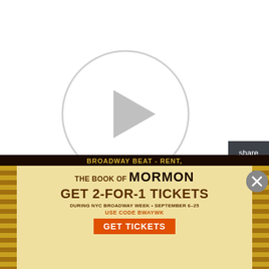[Figure (screenshot): Video player with circular play button on white background]
[Figure (infographic): Share sidebar with Twitter and Facebook icons on dark background]
Broadway Body Positivity Project founder Stephanie Lexis has released her latest parody sketch, "Now
[Figure (infographic): Advertisement banner: BROADWAY BEAT - RENT, THE BOOK OF MORMON, GET 2-FOR-1 TICKETS DURING NYC BROADWAY WEEK • SEPTEMBER 6-25 USE CODE BWAYWK, GET TICKETS button]